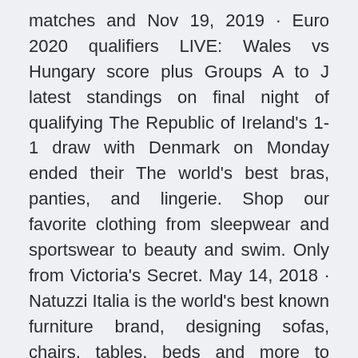matches and Nov 19, 2019 · Euro 2020 qualifiers LIVE: Wales vs Hungary score plus Groups A to J latest standings on final night of qualifying The Republic of Ireland's 1-1 draw with Denmark on Monday ended their The world's best bras, panties, and lingerie. Shop our favorite clothing from sleepwear and sportswear to beauty and swim. Only from Victoria's Secret. May 14, 2018 · Natuzzi Italia is the world's best known furniture brand, designing sofas, chairs, tables, beds and more to create harmony throughout the home. Oct 11, 2020 · Belgium.